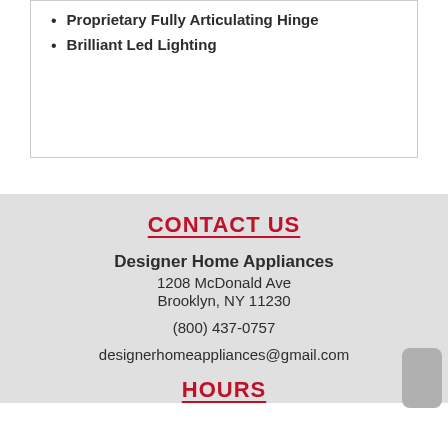Proprietary Fully Articulating Hinge
Brilliant Led Lighting
CONTACT US
Designer Home Appliances
1208 McDonald Ave
Brooklyn, NY 11230

(800) 437-0757

designerhomeappliances@gmail.com
HOURS